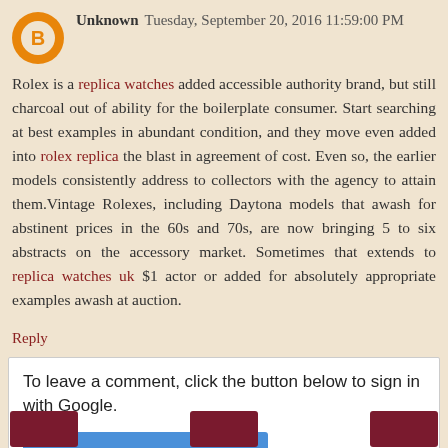Unknown  Tuesday, September 20, 2016 11:59:00 PM
Rolex is a replica watches added accessible authority brand, but still charcoal out of ability for the boilerplate consumer. Start searching at best examples in abundant condition, and they move even added into rolex replica the blast in agreement of cost. Even so, the earlier models consistently address to collectors with the agency to attain them.Vintage Rolexes, including Daytona models that awash for abstinent prices in the 60s and 70s, are now bringing 5 to six abstracts on the accessory market. Sometimes that extends to replica watches uk $1 actor or added for absolutely appropriate examples awash at auction.
Reply
To leave a comment, click the button below to sign in with Google.
SIGN IN WITH GOOGLE